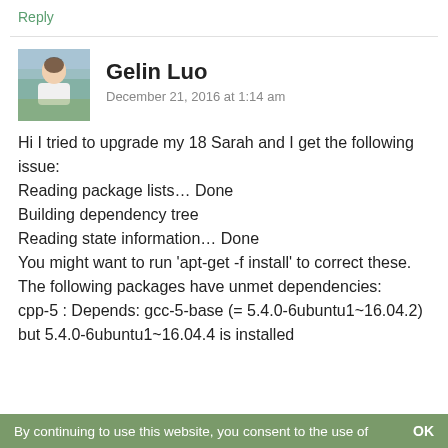Reply
[Figure (photo): Avatar photo of Gelin Luo, a person standing outdoors]
Gelin Luo
December 21, 2016 at 1:14 am
Hi I tried to upgrade my 18 Sarah and I get the following issue:
Reading package lists… Done
Building dependency tree
Reading state information… Done
You might want to run 'apt-get -f install' to correct these.
The following packages have unmet dependencies:
cpp-5 : Depends: gcc-5-base (= 5.4.0-6ubuntu1~16.04.2) but 5.4.0-6ubuntu1~16.04.4 is installed
By continuing to use this website, you consent to the use of    OK